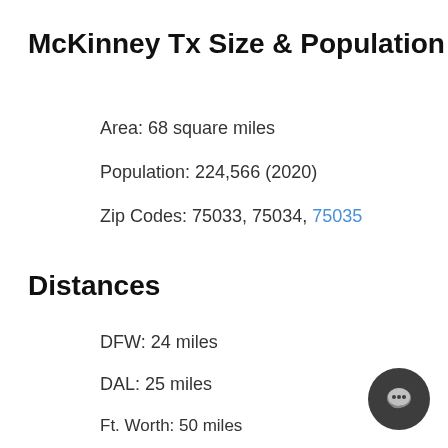McKinney Tx Size & Population
Area: 68 square miles
Population: 224,566 (2020)
Zip Codes: 75033, 75034, 75035
Distances
DFW: 24 miles
DAL: 25 miles
Ft. Worth: 50 miles
Downtown Dallas: 28 miles